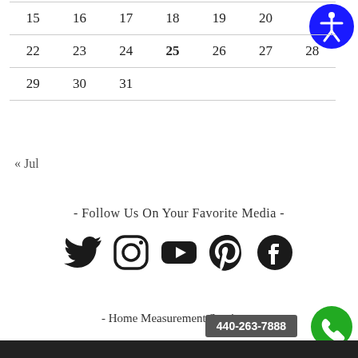| 15 | 16 | 17 | 18 | 19 | 20 |  |
| 22 | 23 | 24 | 25 | 26 | 27 | 28 |
| 29 | 30 | 31 |  |  |  |  |
« Jul
- Follow Us On Your Favorite Media -
[Figure (infographic): Social media icons: Twitter, Instagram, YouTube, Pinterest, Facebook]
- Home Measurement Services -
440-263-7888